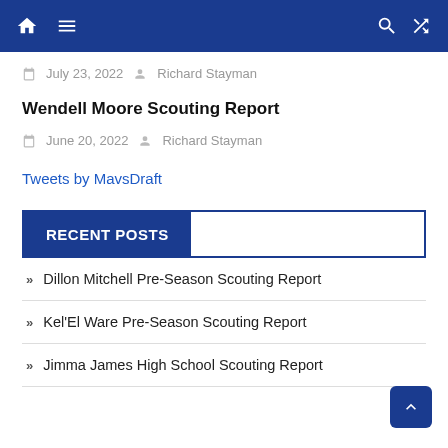Navigation bar with home, menu, search, and shuffle icons
July 23, 2022   Richard Stayman
Wendell Moore Scouting Report
June 20, 2022   Richard Stayman
Tweets by MavsDraft
RECENT POSTS
Dillon Mitchell Pre-Season Scouting Report
Kel'El Ware Pre-Season Scouting Report
Jimma James High School Scouting Report